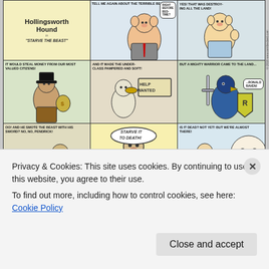[Figure (illustration): Hollingsworth Hound comic strip titled 'Starve the Beast'. Multiple panels showing cartoon animal characters. Row 1: Title panel with 'Hollingsworth Hound in STARVE THE BEAST', speech bubble panels with 'TELL ME AGAIN ABOUT THE TERRIBLE BEAST!', 'RIGHT BEFORE BEDTIME?', and 'YES! THAT WAS DESTROYING ALL THE LAND!'. Row 2: Three panels - 'IT WOULD STEAL MONEY FROM OUR MOST VALUED CITIZENS!', 'AND IT MADE THE UNDERCLASS PAMPERED AND SOFT! HELP WANTED', 'BUT A MIGHTY WARRIOR CAME TO THE LAND... RONALD RAVEN!'. Row 3: Three panels - 'OO! AND HE SMOTE THE BEAST WITH HIS SWORD? NO, NO, PENDRICK!', 'HE STARTED TO SLOWLY... STARVE IT TO DEATH!', 'IS IT DEAD? NOT YET! BUT WE'RE ALMOST THERE!'. Partial bottom row: 'GOLLY, I WANT TO SEE THE BEAST!', 'I HEARD IT DWELLS BEHIND THOSE DECREPIT WALLS!', 'OH MY']
Privacy & Cookies: This site uses cookies. By continuing to use this website, you agree to their use.
To find out more, including how to control cookies, see here: Cookie Policy